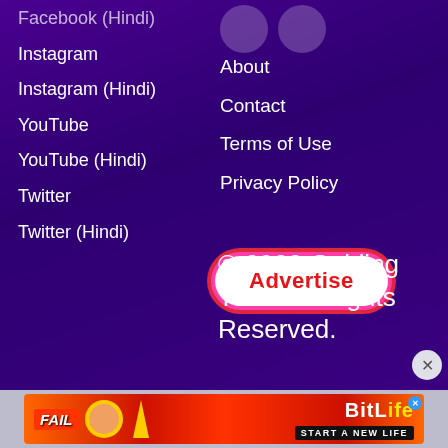Facebook (Hindi)
Instagram
Instagram (Hindi)
YouTube
YouTube (Hindi)
Twitter
Twitter (Hindi)
About
Contact
Terms of Use
Privacy Policy
[Figure (illustration): Two overlapping white circles (social media icons) partially visible at top right]
Advertise
© 2022 Guiding Tech. All Rights Reserved.
[Figure (photo): BitLife advertisement banner with FAIL text, cartoon character, flames, and START A NEW LIFE tagline]